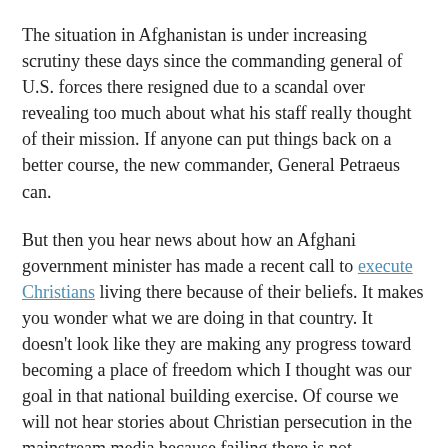The situation in Afghanistan is under increasing scrutiny these days since the commanding general of U.S. forces there resigned due to a scandal over revealing too much about what his staff really thought of their mission. If anyone can put things back on a better course, the new commander, General Petraeus can.
But then you hear news about how an Afghani government minister has made a recent call to execute Christians living there because of their beliefs. It makes you wonder what we are doing in that country. It doesn't look like they are making any progress toward becoming a place of freedom which I thought was our goal in that national building exercise. Of course we will not hear stories about Christian persecution in the mainstream media because failing there is not politically correct. And besides, Christians are used to being persecuted, why should the media make a big deal about it?
One thing our being in Afghanistan does do is tie up our ability to project military power in other places. And that makes it more likely for a war to break out in any of the